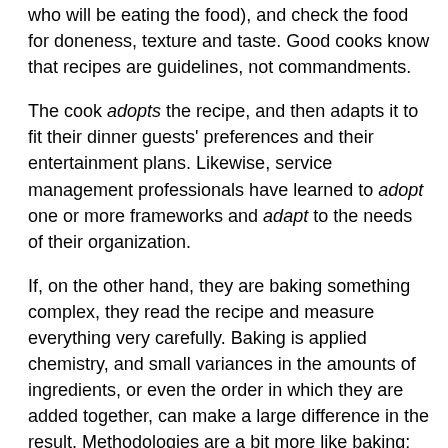who will be eating the food), and check the food for doneness, texture and taste. Good cooks know that recipes are guidelines, not commandments.
The cook adopts the recipe, and then adapts it to fit their dinner guests' preferences and their entertainment plans. Likewise, service management professionals have learned to adopt one or more frameworks and adapt to the needs of their organization.
If, on the other hand, they are baking something complex, they read the recipe and measure everything very carefully. Baking is applied chemistry, and small variances in the amounts of ingredients, or even the order in which they are added together, can make a large difference in the result. Methodologies are a bit more like baking: Not following the prescribed, tested steps carefully can produce failures or have unintended consequences.